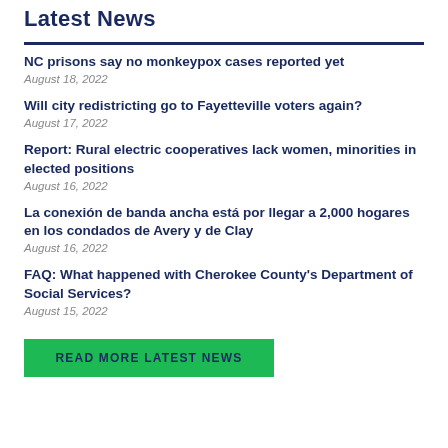Latest News
NC prisons say no monkeypox cases reported yet
August 18, 2022
Will city redistricting go to Fayetteville voters again?
August 17, 2022
Report: Rural electric cooperatives lack women, minorities in elected positions
August 16, 2022
La conexión de banda ancha está por llegar a 2,000 hogares en los condados de Avery y de Clay
August 16, 2022
FAQ: What happened with Cherokee County's Department of Social Services?
August 15, 2022
READ MORE LATEST NEWS